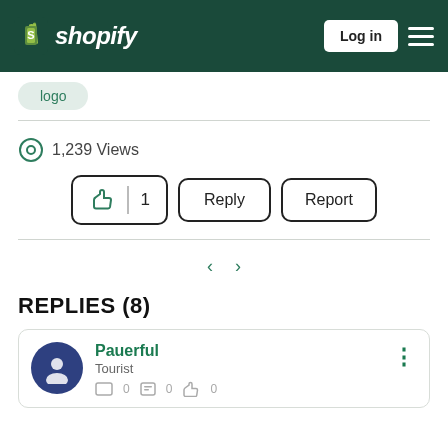[Figure (screenshot): Shopify community forum page showing navigation header with Shopify logo, Log in button, and hamburger menu on dark green background]
logo
1,239 Views
👍 1  Reply  Report
< >
REPLIES (8)
Pauerful
Tourist